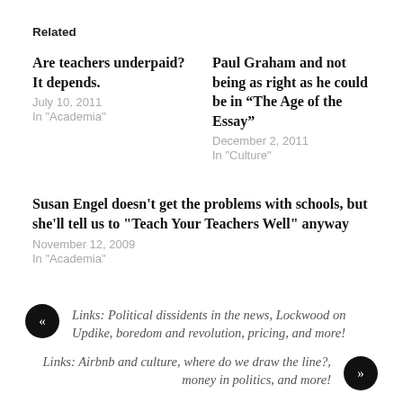Related
Are teachers underpaid? It depends.
July 10, 2011
In "Academia"
Paul Graham and not being as right as he could be in “The Age of the Essay”
December 2, 2011
In "Culture"
Susan Engel doesn’t get the problems with schools, but she’ll tell us to “Teach Your Teachers Well” anyway
November 12, 2009
In "Academia"
« Links: Political dissidents in the news, Lockwood on Updike, boredom and revolution, pricing, and more!
Links: Airbnb and culture, where do we draw the line?, money in politics, and more! »